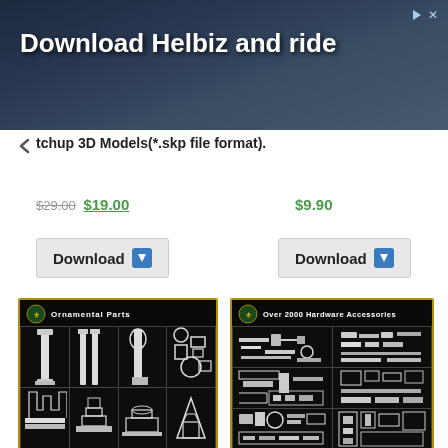[Figure (screenshot): Advertisement banner: 'Download Helbiz and ride' with dark urban background and close button]
tchup 3D Models(*.skp file format).
$29.00 $19.00
Download
$9.90
Download
[Figure (screenshot): CAD library product thumbnail: 'Ornamental Parts' with architectural elements on black background]
[Figure (screenshot): CAD library product thumbnail: 'Over 2000 Hardware Accessories' with hardware icons on black background]